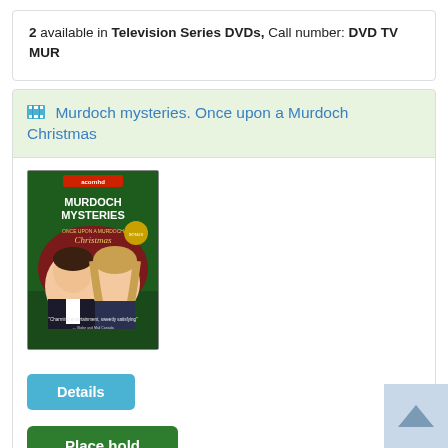2 available in Television Series DVDs, Call number: DVD TV MUR
Murdoch mysteries. Once upon a Murdoch Christmas
[Figure (photo): DVD cover for Murdoch Mysteries: Once Upon a Murdoch Christmas. Green background with two actors (man in tuxedo, woman with blonde hair). Text reads 'MURDOCH MYSTERIES ONCE UPON A MURDOCH Christmas'. Quote: 'Charming entertainment, sweetly satisfying']
Details
Place hold